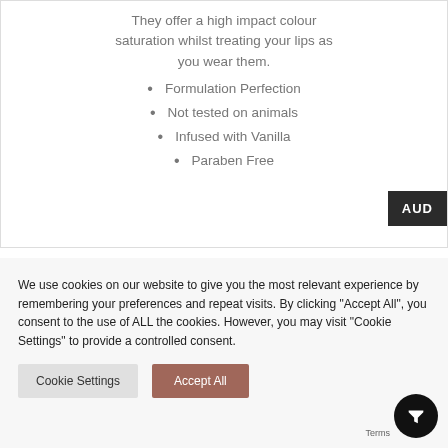They offer a high impact colour saturation whilst treating your lips as you wear them.
Formulation Perfection
Not tested on animals
Infused with Vanilla
Paraben Free
We use cookies on our website to give you the most relevant experience by remembering your preferences and repeat visits. By clicking "Accept All", you consent to the use of ALL the cookies. However, you may visit "Cookie Settings" to provide a controlled consent.